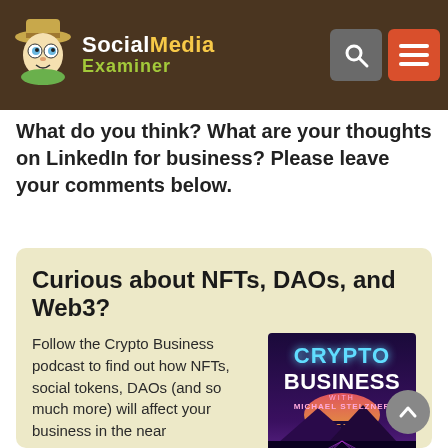Social Media Examiner
What do you think? What are your thoughts on LinkedIn for business? Please leave your comments below.
Curious about NFTs, DAOs, and Web3?
Follow the Crypto Business podcast to find out how NFTs, social tokens, DAOs (and so much more) will affect your business in the near
[Figure (logo): Crypto Business with Michael Stelzner – Social Media Examiner podcast cover art showing a retro synthwave landscape]